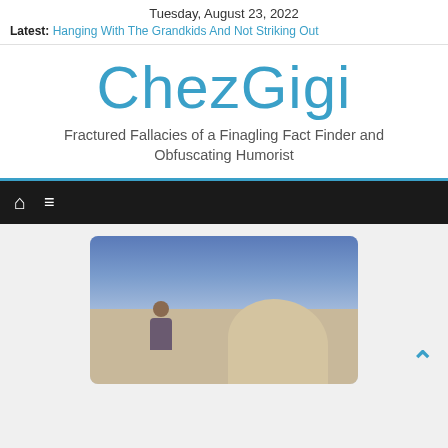Tuesday, August 23, 2022
Latest: Hanging With The Grandkids And Not Striking Out
ChezGigi
Fractured Fallacies of a Finagling Fact Finder and Obfuscating Humorist
[Figure (screenshot): Navigation bar with home icon and hamburger menu icon on dark background]
[Figure (photo): A person standing outdoors with a large rock formation and blue sky background]